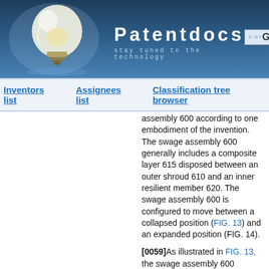Patentdocs — stay tuned to the technology
Inventors list   Assignees list   Classification tree browser
assembly 600 according to one embodiment of the invention. The swage assembly 600 generally includes a composite layer 615 disposed between an outer shroud 610 and an inner resilient member 620. The swage assembly 600 is configured to move between a collapsed position (FIG. 13) and an expanded position (FIG. 14).
[0059]As illustrated in FIG. 13, the swage assembly 600 includes a chamber 625 that is defined between the resilient member 620, the